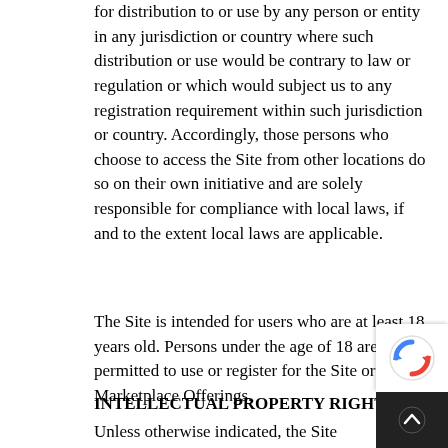for distribution to or use by any person or entity in any jurisdiction or country where such distribution or use would be contrary to law or regulation or which would subject us to any registration requirement within such jurisdiction or country. Accordingly, those persons who choose to access the Site from other locations do so on their own initiative and are solely responsible for compliance with local laws, if and to the extent local laws are applicable.
The Site is intended for users who are at least 18 years old. Persons under the age of 18 are not permitted to use or register for the Site or use the Marketplace Offerings.
INTELLECTUAL PROPERTY RIGHTS
Unless otherwise indicated, the Site and the Marketplace Offerings are our proprietary proper and all source code, databases, functionality, softwa